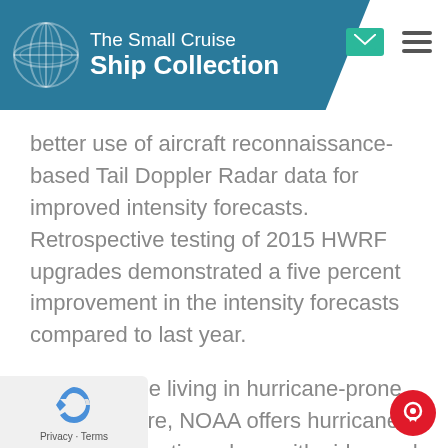The Small Cruise Ship Collection
better use of aircraft reconnaissance-based Tail Doppler Radar data for improved intensity forecasts. Retrospective testing of 2015 HWRF upgrades demonstrated a five percent improvement in the intensity forecasts compared to last year.
To help those living in hurricane-prone areas prepare, NOAA offers hurricane preparedness tips, along with video and audio public service announcements at